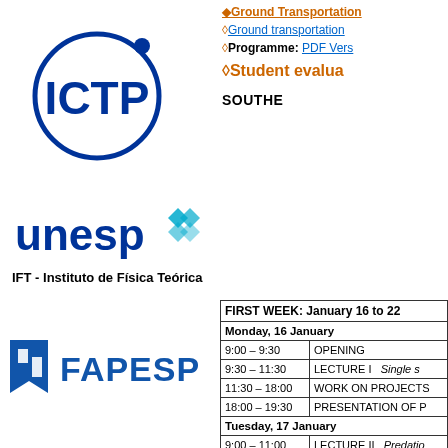[Figure (logo): ICTP circular logo in dark blue]
[Figure (logo): unesp logo with cyan snowflake icon]
IFT - Instituto de Física Teórica
[Figure (logo): FAPESP logo in blue]
◊Ground transportation
◊Ground transportation
◊Programme: PDF Vers
◊Student evalua
SOUTHE
| FIRST WEEK: January 16 to 22 |  |
| Monday, 16 January |  |
| 9:00 – 9:30 | OPENING |
| 9:30 – 11:30 | LECTURE I   Single s |
| 11:30 – 18:00 | WORK ON PROJECTS |
| 18:00 – 19:30 | PRESENTATION OF P |
| Tuesday, 17 January |  |
| 9:00 – 11:00 | LECTURE II   Predatio |
| 11:00 – 18:00 | WORK ON PROJECTS |